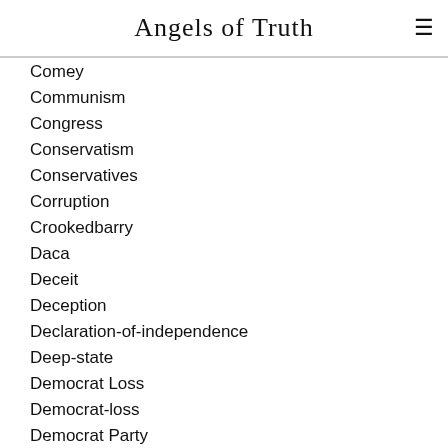Angels of Truth
Comey
Communism
Congress
Conservatism
Conservatives
Corruption
Crookedbarry
Daca
Deceit
Deception
Declaration-of-independence
Deep-state
Democrat Loss
Democrat-loss
Democrat Party
Democrats
Desperate-democrats